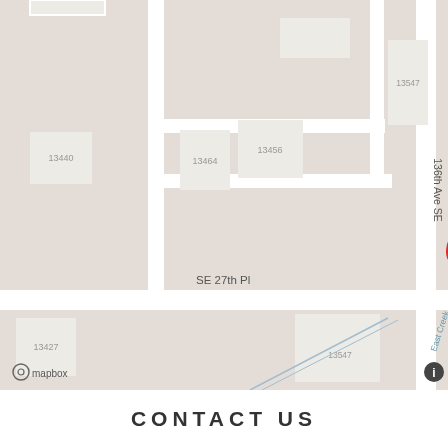[Figure (map): Street map showing SE 27th Pl and 136th Ave SE intersection with building footprints labeled 13440, 13464, 13456, 13547 (top), 13427, 13547 (bottom), 13563, 13565, and a red location pin marker. Map credit: Mapbox. Feature labeled 'East Creek' in lower right.]
CONTACT US